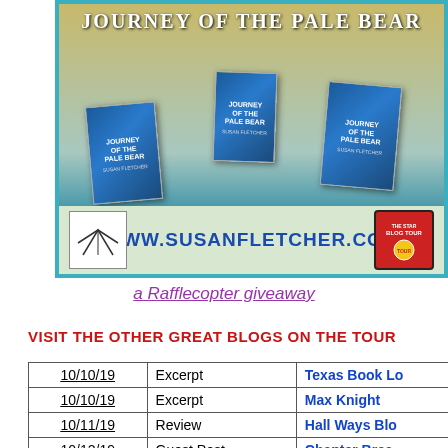[Figure (illustration): Book promotion banner for 'Journey of the Pale Bear' by Susan Fletcher showing three book covers, a boy with a polar bear underwater scene, logo, and website URL www.susanfletcher.com]
a Rafflecopter giveaway
VISIT THE OTHER GREAT BLOGS ON THE TOUR
| Date | Type | Blog |
| --- | --- | --- |
| 10/10/19 | Excerpt | Texas Book Lo... |
| 10/10/19 | Excerpt | Max Knight |
| 10/11/19 | Review | Hall Ways Blo... |
| 10/12/19 | Guest Post | Chapter Brea... |